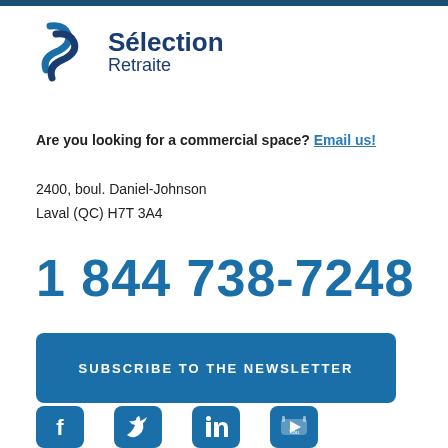[Figure (logo): Sélection Retraite logo with stylized S icon and company name]
Are you looking for a commercial space? Email us!
2400, boul. Daniel-Johnson
Laval (QC) H7T 3A4
1 844 738-7248
SUBSCRIBE TO THE NEWSLETTER
[Figure (infographic): Social media icons: Facebook, Twitter, LinkedIn, YouTube]